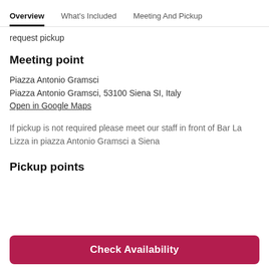Overview | What's Included | Meeting And Pickup
request pickup
Meeting point
Piazza Antonio Gramsci
Piazza Antonio Gramsci, 53100 Siena SI, Italy
Open in Google Maps
If pickup is not required please meet our staff in front of Bar La Lizza in piazza Antonio Gramsci a Siena
Pickup points
Check Availability